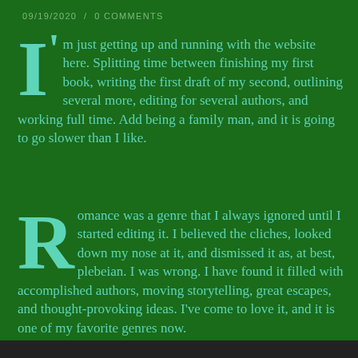09/19/2020  /  0 COMMENTS
I'm just getting up and running with the website here. Splitting time between finishing my first book, writing the first draft of my second, outlining several more, editing for several authors, and working full time. Add being a family man, and it is going to go slower than I like.
Romance was a genre that I always ignored until I started editing it. I believed the cliches, looked down my nose at it, and dismissed it as, at best, plebeian. I was wrong. I have found it filled with accomplished authors, moving storytelling, great escapes, and thought-provoking ideas. I've come to love it, and it is one of my favorite genres now.